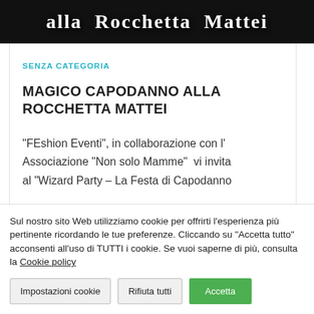[Figure (photo): Dark banner image with white stylized text reading 'alla Rocchetta Mattei']
SENZA CATEGORIA
MAGICO CAPODANNO ALLA ROCCHETTA MATTEI
"FEshion Eventi", in collaborazione con l' Associazione "Non solo Mamme" vi invita al "Wizard Party – La Festa di Capodanno
Sul nostro sito Web utilizziamo cookie per offrirti l'esperienza più pertinente ricordando le tue preferenze. Cliccando su "Accetta tutto" acconsenti all'uso di TUTTI i cookie. Se vuoi saperne di più, consulta la Cookie policy
Impostazioni cookie
Rifiuta tutti
Accetta